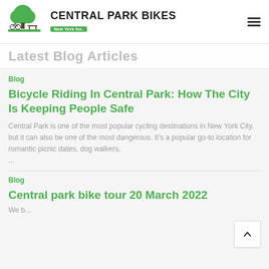CENTRAL PARK BIKES New York Inc.
Latest Blog Articles
Blog
Bicycle Riding In Central Park: How The City Is Keeping People Safe
Central Park is one of the most popular cycling destinations in New York City, but it can also be one of the most dangerous. It's a popular go-to location for romantic picnic dates, dog walkers, ...
Blog
Central park bike tour 20 March 2022
We b...